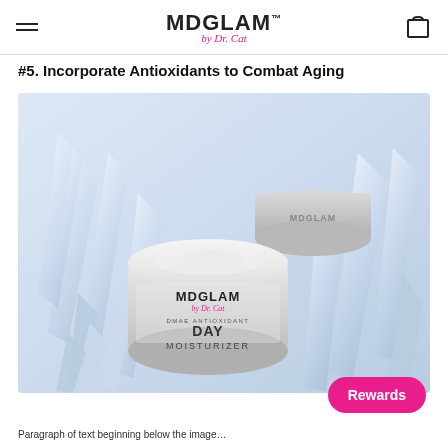MDGLAM™ by Dr. Cat
#5. Incorporate Antioxidants to Combat Aging
[Figure (photo): MD GLAM by Dr. Cat DMAE Antioxidant Day Moisturizer jar open with cream, alongside its silver lid, surrounded by crystal/diamond shards on a light blue-grey background.]
Rewards
Paragraph of text beginning below the image (partially visible)